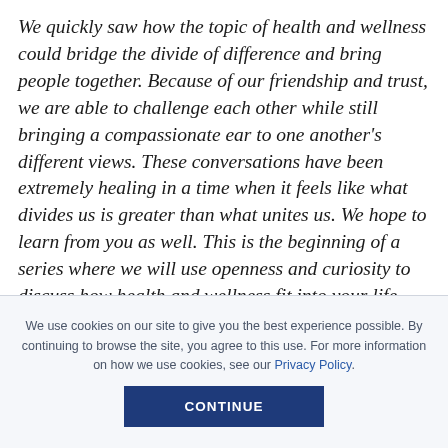We quickly saw how the topic of health and wellness could bridge the divide of difference and bring people together. Because of our friendship and trust, we are able to challenge each other while still bringing a compassionate ear to one another's different views. These conversations have been extremely healing in a time when it feels like what divides us is greater than what unites us. We hope to learn from you as well. This is the beginning of a series where we will use openness and curiosity to discuss how health and wellness fit into your life and how, given our
We use cookies on our site to give you the best experience possible. By continuing to browse the site, you agree to this use. For more information on how we use cookies, see our Privacy Policy.
CONTINUE